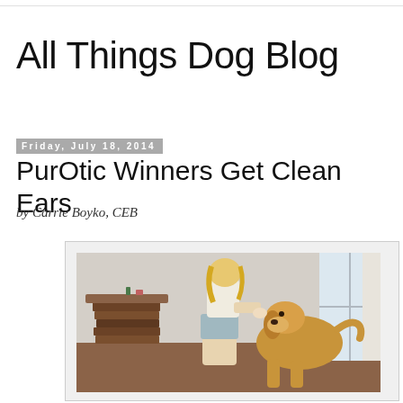All Things Dog Blog
Friday, July 18, 2014
PurOtic Winners Get Clean Ears
by Carrie Boyko, CEB
[Figure (photo): A person kneeling beside a golden retriever dog, cleaning its ear. A stacked-books side table is visible in the background along with a window with white curtains.]